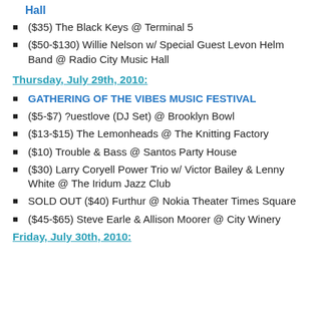Hall
($35) The Black Keys @ Terminal 5
($50-$130) Willie Nelson w/ Special Guest Levon Helm Band @ Radio City Music Hall
Thursday, July 29th, 2010:
GATHERING OF THE VIBES MUSIC FESTIVAL
($5-$7) ?uestlove (DJ Set) @ Brooklyn Bowl
($13-$15) The Lemonheads @ The Knitting Factory
($10) Trouble & Bass @ Santos Party House
($30) Larry Coryell Power Trio w/ Victor Bailey & Lenny White @ The Iridum Jazz Club
SOLD OUT ($40) Furthur @ Nokia Theater Times Square
($45-$65) Steve Earle & Allison Moorer @ City Winery
Friday, July 30th, 2010: